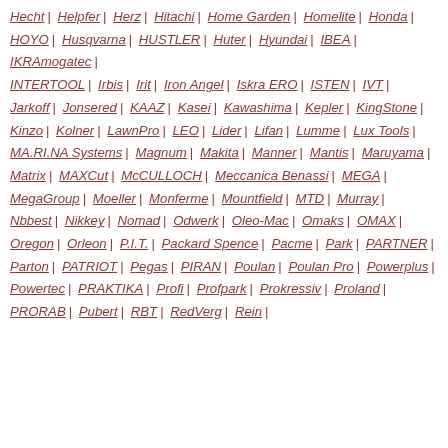Hecht | Helpfer | Herz | Hitachi | Home Garden | Homelite | Honda | HOYO | Husqvarna | HUSTLER | Huter | Hyundai | IBEA | IKRAmogatec | INTERTOOL | Irbis | Irit | Iron Angel | Iskra ERO | ISTEN | IVT | Jarkoff | Jonsered | KAAZ | Kasei | Kawashima | Kepler | KingStone | Kinzo | Kolner | LawnPro | LEO | Lider | Lifan | Lumme | Lux Tools | MA.RI.NA Systems | Magnum | Makita | Manner | Mantis | Maruyama | Matrix | MAXCut | McCULLOCH | Meccanica Benassi | MEGA | MegaGroup | Moeller | Monferme | Mountfield | MTD | Murray | Nbbest | Nikkey | Nomad | Odwerk | Oleo-Mac | Omaks | OMAX | Oregon | Orleon | P.I.T. | Packard Spence | Pacme | Park | PARTNER | Parton | PATRIOT | Pegas | PIRAN | Poulan | Poulan Pro | Powerplus | Powertec | PRAKTIKA | Profi | Profpark | Prokressiv | Proland | PRORAB | Pubert | RBT | RedVerg | Rein |